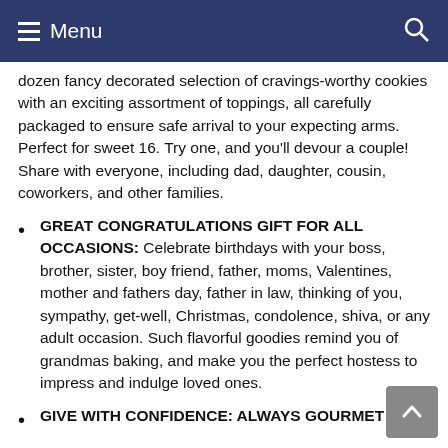Menu
dozen fancy decorated selection of cravings-worthy cookies with an exciting assortment of toppings, all carefully packaged to ensure safe arrival to your expecting arms. Perfect for sweet 16. Try one, and you'll devour a couple! Share with everyone, including dad, daughter, cousin, coworkers, and other families.
GREAT CONGRATULATIONS GIFT FOR ALL OCCASIONS: Celebrate birthdays with your boss, brother, sister, boy friend, father, moms, Valentines, mother and fathers day, father in law, thinking of you, sympathy, get-well, Christmas, condolence, shiva, or any adult occasion. Such flavorful goodies remind you of grandmas baking, and make you the perfect hostess to impress and indulge loved ones.
GIVE WITH CONFIDENCE: ALWAYS GOURMET